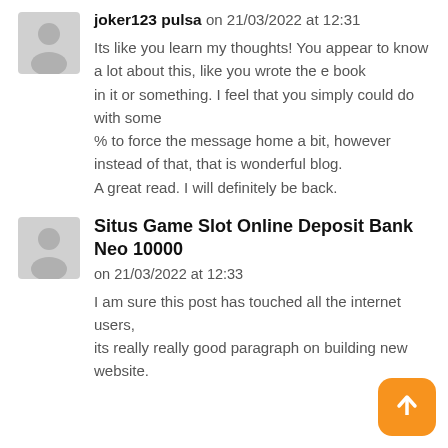joker123 pulsa on 21/03/2022 at 12:31
Its like you learn my thoughts! You appear to know a lot about this, like you wrote the e book
in it or something. I feel that you simply could do with some
% to force the message home a bit, however instead of that, that is wonderful blog.
A great read. I will definitely be back.
Situs Game Slot Online Deposit Bank Neo 10000 on 21/03/2022 at 12:33
I am sure this post has touched all the internet users,
its really really good paragraph on building new website.